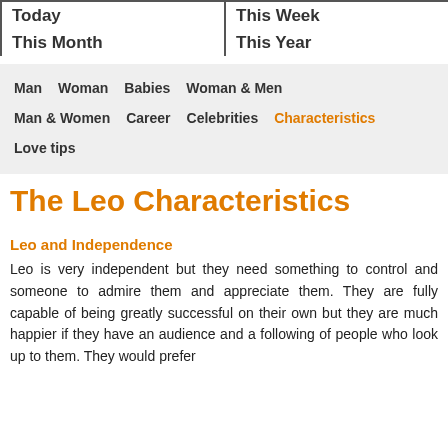Today  This Week  This Month  This Year
Man  Woman  Babies  Woman & Men  Man & Women  Career  Celebrities  Characteristics  Love tips
The Leo Characteristics
Leo and Independence
Leo is very independent but they need something to control and someone to admire them and appreciate them. They are fully capable of being greatly successful on their own but they are much happier if they have an audience and a following of people who look up to them. They would prefer